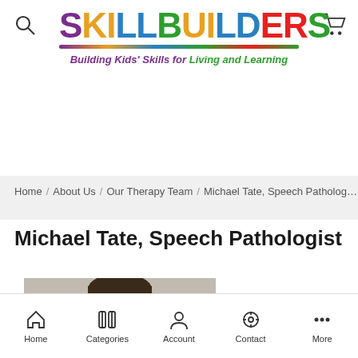[Figure (logo): SkillBuilders logo with colorful letters and tagline 'Building Kids' Skills for Living and Learning']
Home / About Us / Our Therapy Team / Michael Tate, Speech Patholog…
Michael Tate, Speech Pathologist
[Figure (photo): Professional headshot of a young man with dark hair against a gray background]
Home   Categories   Account   Contact   More